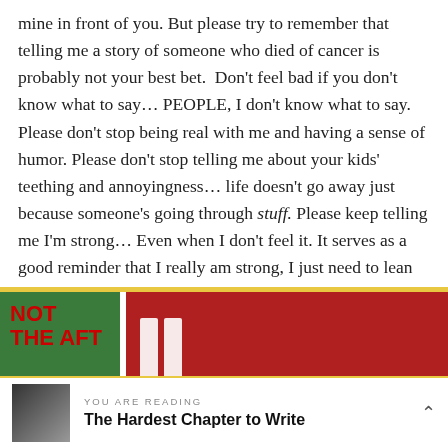mine in front of you. But please try to remember that telling me a story of someone who died of cancer is probably not your best bet.  Don't feel bad if you don't know what to say… PEOPLE, I don't know what to say. Please don't stop being real with me and having a sense of humor. Please don't stop telling me about your kids' teething and annoyingness… life doesn't go away just because someone's going through stuff. Please keep telling me I'm strong… Even when I don't feel it. It serves as a good reminder that I really am strong, I just need to lean on others and God to get me through all the days. And please don't be jealous of my perky boobs I will have at the end of this whole situation. {see? Humor.}
[Figure (photo): A close-up photo showing a green sign with red text reading 'NOT THE AFT', a red background with white stripes/logo, and a finger visible at the bottom.]
[Figure (photo): Small thumbnail image showing a black and white photo of a person, used as reading indicator thumbnail.]
YOU ARE READING
The Hardest Chapter to Write